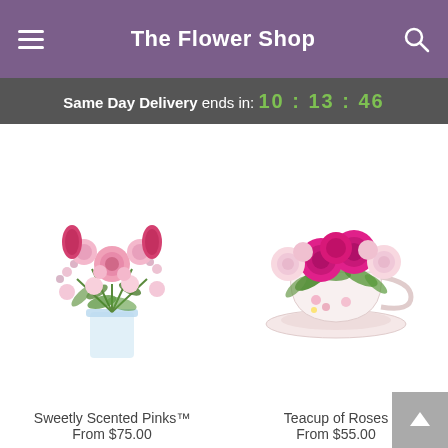The Flower Shop
Same Day Delivery ends in: 10 : 13 : 46
[Figure (photo): Sweetly Scented Pinks floral arrangement in a glass vase with pink tulips, roses, and waxflower]
Sweetly Scented Pinks™
From $75.00
[Figure (photo): Teacup of Roses arrangement with hot pink and light pink roses in a decorative teacup and saucer]
Teacup of Roses
From $55.00